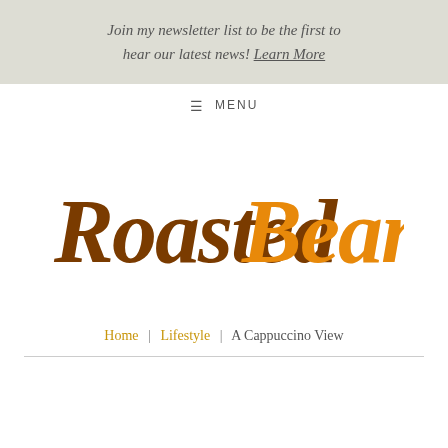Join my newsletter list to be the first to hear our latest news! Learn More
≡ MENU
[Figure (logo): RoastedBeanz handwritten script logo: 'Roasted' in dark brown and 'Beanz' in orange cursive lettering]
Home | Lifestyle | A Cappuccino View